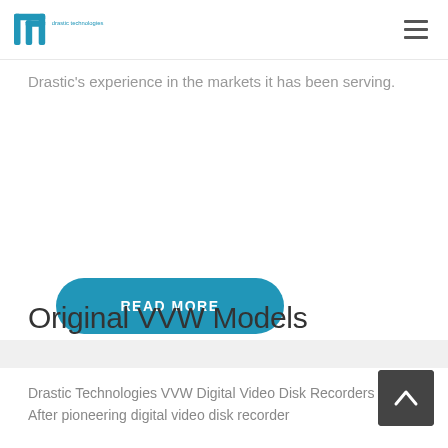drastic technologies
Drastic's experience in the markets it has been serving.
READ MORE
Original VVW Models
Drastic Technologies VVW Digital Video Disk Recorders
After pioneering digital video disk recorder technology with the successful MAXX line of